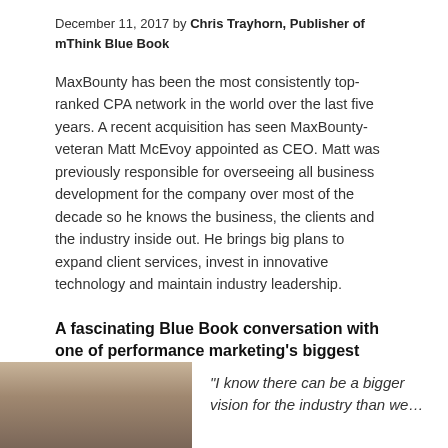December 11, 2017 by Chris Trayhorn, Publisher of mThink Blue Book
MaxBounty has been the most consistently top-ranked CPA network in the world over the last five years. A recent acquisition has seen MaxBounty-veteran Matt McEvoy appointed as CEO. Matt was previously responsible for overseeing all business development for the company over most of the decade so he knows the business, the clients and the industry inside out. He brings big plans to expand client services, invest in innovative technology and maintain industry leadership.
A fascinating Blue Book conversation with one of performance marketing's biggest thinkers.
[Figure (photo): Photo of a person (partial, bottom of page)]
“I know there can be a bigger vision for the industry than we…